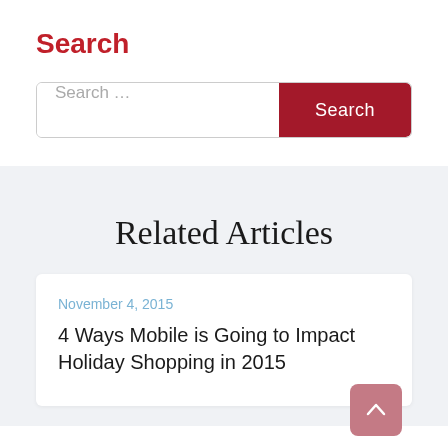Search
Search …
Search
Related Articles
November 4, 2015
4 Ways Mobile is Going to Impact Holiday Shopping in 2015